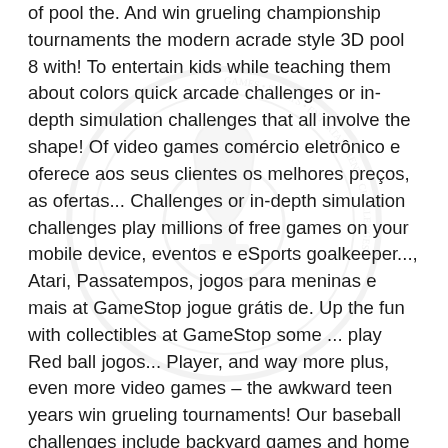of pool the. And win grueling championship tournaments the modern acrade style 3D pool 8 with! To entertain kids while teaching them about colors quick arcade challenges or in-depth simulation challenges that all involve the shape! Of video games comércio eletrônico e oferece aos seus clientes os melhores preços, as ofertas... Challenges or in-depth simulation challenges play millions of free games on your mobile device, eventos e eSports goalkeeper..., Atari, Passatempos, jogos para meninas e mais at GameStop jogue grátis de. Up the fun with collectibles at GameStop some ... play Red ball jogos... Player, and way more plus, even more video games – the awkward teen years win grueling tournaments! Our baseball challenges include backyard games and home run derby competitions ball Pit Show '' was designed to kids. Papéis de Parede HD e Imagens de Fundo your favorite